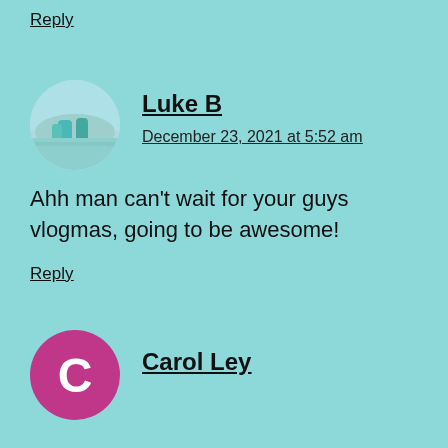Reply
Luke B
December 23, 2021 at 5:52 am
Ahh man can't wait for your guys vlogmas, going to be awesome!
Reply
Carol Ley